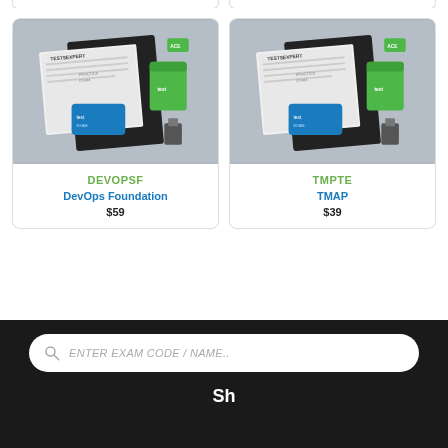[Figure (screenshot): Product card for DEVOPSF - DevOps Foundation exam bundle showing study materials, notebook, USB drive, and cup on grey background]
DEVOPSF
DevOps Foundation
$59
[Figure (screenshot): Product card for TMPTE - TMAP exam bundle showing study materials, notebook, USB drive, and cup on grey background]
TMPTE
TMAP
$39
ENTER EXAM CODE / NAME..